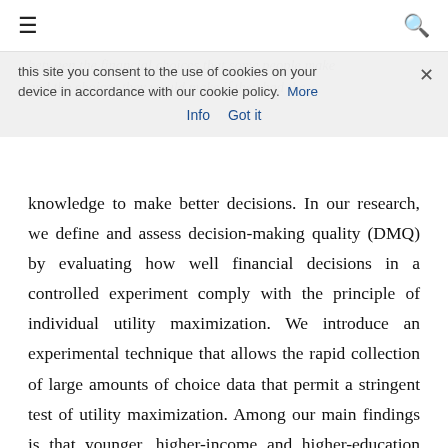≡  🔍
this site you consent to the use of cookies on your device in accordance with our cookie policy.  More Info   Got it
between the financial choices that some people make and the choices they would make if they had the knowledge to make better decisions. In our research, we define and assess decision-making quality (DMQ) by evaluating how well financial decisions in a controlled experiment comply with the principle of individual utility maximization. We introduce an experimental technique that allows the rapid collection of large amounts of choice data that permit a stringent test of utility maximization. Among our main findings is that younger, higher-income and higher-education individuals display greater levels of DMA than older, lower-income and lower-education individuals. We also find that the quality of choices in the experiment is